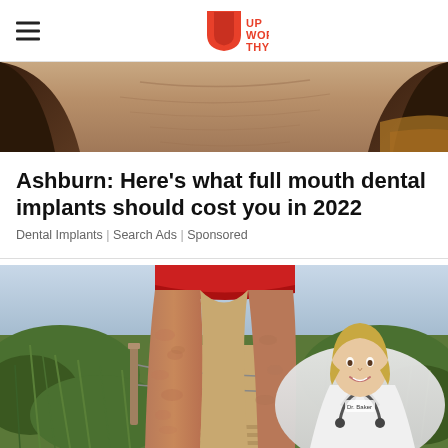Upworthy
[Figure (photo): Close-up photo of a person's neck and upper chest area, partial view of face cut off, warm skin tones]
Ashburn: Here's what full mouth dental implants should cost you in 2022
Dental Implants | Search Ads | Sponsored
[Figure (photo): Photo of a person's legs with cellulite on a boardwalk through beach grass dunes, with a female doctor in white coat with stethoscope inset in lower right corner]